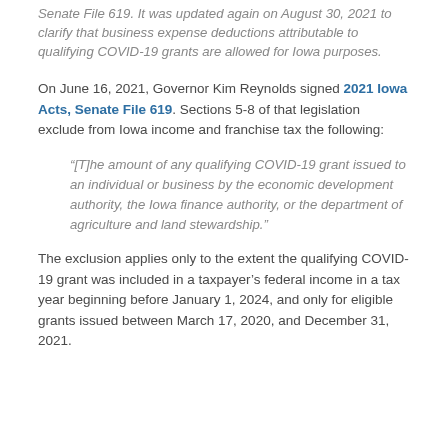Senate File 619. It was updated again on August 30, 2021 to clarify that business expense deductions attributable to qualifying COVID-19 grants are allowed for Iowa purposes.
On June 16, 2021, Governor Kim Reynolds signed 2021 Iowa Acts, Senate File 619. Sections 5-8 of that legislation exclude from Iowa income and franchise tax the following:
“[T]he amount of any qualifying COVID-19 grant issued to an individual or business by the economic development authority, the Iowa finance authority, or the department of agriculture and land stewardship.”
The exclusion applies only to the extent the qualifying COVID-19 grant was included in a taxpayer’s federal income in a tax year beginning before January 1, 2024, and only for eligible grants issued between March 17, 2020, and December 31, 2021.